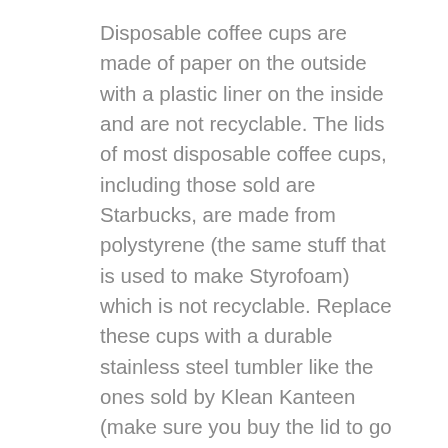Disposable coffee cups are made of paper on the outside with a plastic liner on the inside and are not recyclable. The lids of most disposable coffee cups, including those sold are Starbucks, are made from polystyrene (the same stuff that is used to make Styrofoam) which is not recyclable. Replace these cups with a durable stainless steel tumbler like the ones sold by Klean Kanteen (make sure you buy the lid to go w/ it).
Plastic water bottles: Americans send about 38 million disposable water bottles to landfill every year. It takes about 1.5 million barrels of oil just to make those bottles! Filtered water refill stations are popping up more places, making it easy to find tasty water while on the